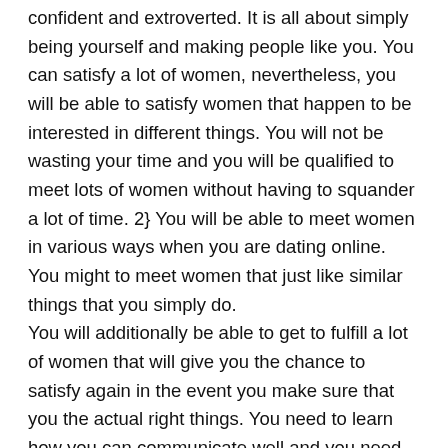confident and extroverted. It is all about simply being yourself and making people like you. You can satisfy a lot of women, nevertheless, you will be able to satisfy women that happen to be interested in different things. You will not be wasting your time and you will be qualified to meet lots of women without having to squander a lot of time. 2} You will be able to meet women in various ways when you are dating online. You might to meet women that just like similar things that you simply do.
You will additionally be able to get to fulfill a lot of women that will give you the chance to satisfy again in the event you make sure that you the actual right things. You need to learn how you can communicate well and you need to talk to all of them.